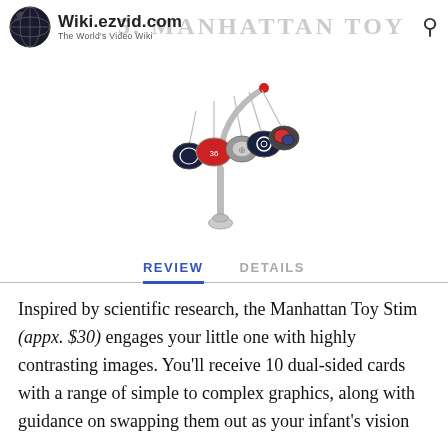Wiki.ezvid.com – The World's Video Wiki
5. Manhattan Toy Stim
[Figure (photo): Product photo of the Manhattan Toy Stim baby mobile, showing a curved metal arm with hanging dual-sided graphic cards on a white background.]
REVIEW   DETAILS
Inspired by scientific research, the Manhattan Toy Stim (appx. $30) engages your little one with highly contrasting images. You'll receive 10 dual-sided cards with a range of simple to complex graphics, along with guidance on swapping them out as your infant's vision